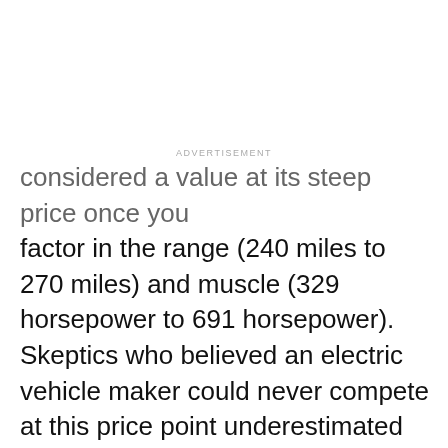ADVERTISEMENT
considered a value at its steep price once you factor in the range (240 miles to 270 miles) and muscle (329 horsepower to 691 horsepower). Skeptics who believed an electric vehicle maker could never compete at this price point underestimated the impact a performance car — one that happened to be electric — could have on the market. (For more on that, consider how a $140K BMW plug-in outsells the Smart Electric Drive, priced at $20K.)